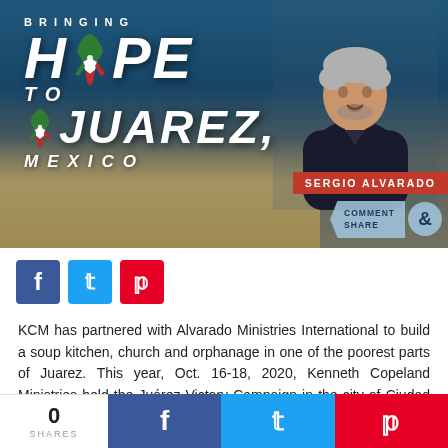[Figure (illustration): Banner image: 'Bringing Hope to Juarez, Mexico' with Sergio Alvarado, a man standing in front of a construction site. Includes ribbon in Mexican flag colors, red name badge reading 'SERGIO ALVARADO', and 'COMMENT & SHARE' badge.]
[Figure (infographic): Three social share buttons: Facebook (blue), Twitter (blue), Pinterest (red)]
KCM has partnered with Alvarado Ministries International to build a soup kitchen, church and orphanage in one of the poorest parts of Juarez. This year, Oct. 16-18, 2020, Kenneth Copeland Ministries held the Juárez Victory Campaign in the city of Ciudad Juárez,
0 SHARES  [Facebook] [Twitter] [Pinterest]